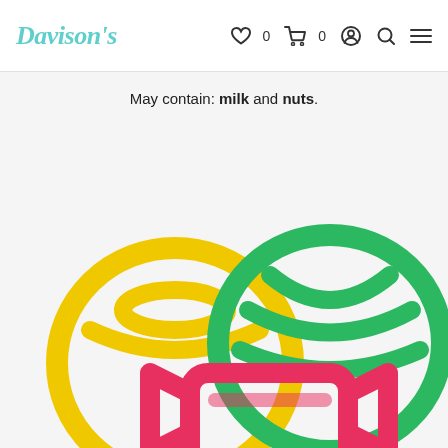Davison's — navigation bar with logo, wishlist (0), cart (0), account, search, menu icons
May contain: milk and nuts.
[Figure (illustration): Colorful candy illustration with three candies: a round yellow candy ball with swirl decoration, a green round candy with stripe pattern, and a red/pink rectangular wrapped candy piece, all rendered as bold outline icons on a light gray background.]